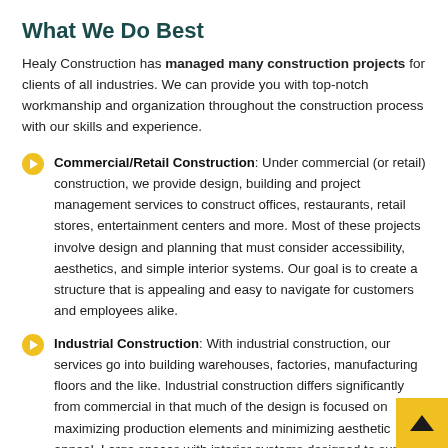What We Do Best
Healy Construction has managed many construction projects for clients of all industries. We can provide you with top-notch workmanship and organization throughout the construction process with our skills and experience.
Commercial/Retail Construction: Under commercial (or retail) construction, we provide design, building and project management services to construct offices, restaurants, retail stores, entertainment centers and more. Most of these projects involve design and planning that must consider accessibility, aesthetics, and simple interior systems. Our goal is to create a structure that is appealing and easy to navigate for customers and employees alike.
Industrial Construction: With industrial construction, our services go into building warehouses, factories, manufacturing floors and the like. Industrial construction differs significantly from commercial in that much of the design is focused on maximizing production elements and minimizing aesthetic appeal. Large spaces with interior systems designed to support heavy-duty